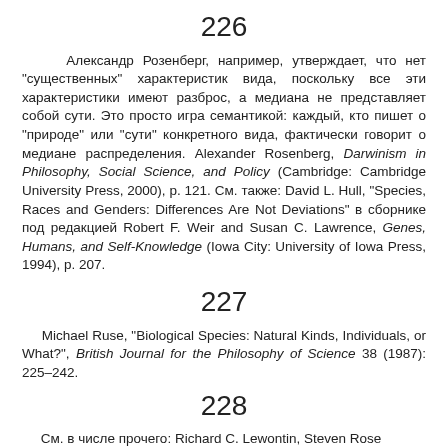226
Александр Розенберг, например, утверждает, что нет "существенных" характеристик вида, поскольку все эти характеристики имеют разброс, а медиана не представляет собой сути. Это просто игра семантикой: каждый, кто пишет о "природе" или "сути" конкретного вида, фактически говорит о медиане распределения. Alexander Rosenberg, Darwinism in Philosophy, Social Science, and Policy (Cambridge: Cambridge University Press, 2000), p. 121. См. также: David L. Hull, "Species, Races and Genders: Differences Are Not Deviations" в сборнике под редакцией Robert F. Weir and Susan C. Lawrence, Genes, Humans, and Self-Knowledge (Iowa City: University of Iowa Press, 1994), p. 207.
227
Michael Ruse, "Biological Species: Natural Kinds, Individuals, or What?", British Journal for the Philosophy of Science 38 (1987): 225–242.
228
См. в числе прочего: Richard C. Lewontin, Steven Rose